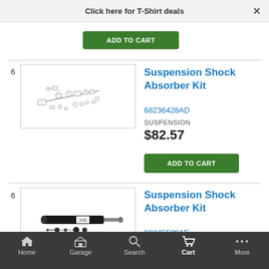Click here for T-Shirt deals
[Figure (other): ADD TO CART green button (partially visible from previous product)]
[Figure (engineering-diagram): Suspension shock absorber kit parts diagram, item number 6]
Suspension Shock Absorber Kit
68236428AD
SUSPENSION
$82.57
[Figure (other): ADD TO CART green button]
[Figure (photo): Suspension shock absorber kit photo showing shock absorber, item number 6]
Suspension Shock Absorber Kit
68245509AE
Front.
$157.55
[Figure (other): ADD TO CART green button (partially cut off at bottom)]
Home  Garage  Search  Cart  More